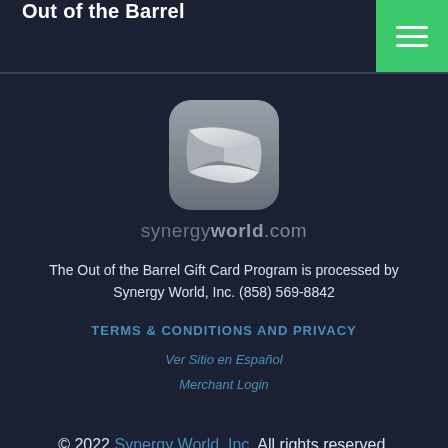Out of the Barrel
[Figure (logo): Synergy World app icon — rounded square with a silver/white stylized S ribbon shape on gray gradient background]
synergyworld.com
The Out of the Barrel Gift Card Program is processed by Synergy World, Inc. (858) 569-8842
TERMS & CONDITIONS AND PRIVACY
Ver Sitio en Español
Merchant Login
© 2022 Synergy World, Inc. All rights reserved.